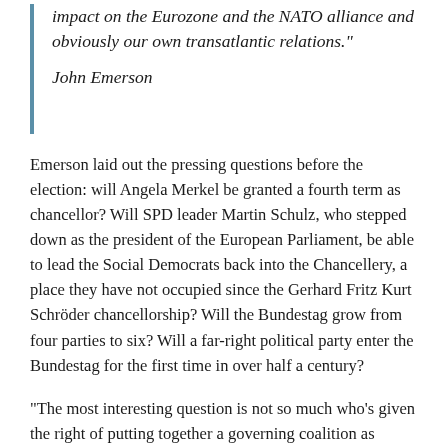impact on the Eurozone and the NATO alliance and obviously our own transatlantic relations."
John Emerson
Emerson laid out the pressing questions before the election: will Angela Merkel be granted a fourth term as chancellor? Will SPD leader Martin Schulz, who stepped down as the president of the European Parliament, be able to lead the Social Democrats back into the Chancellery, a place they have not occupied since the Gerhard Fritz Kurt Schröder chancellorship? Will the Bundestag grow from four parties to six? Will a far-right political party enter the Bundestag for the first time in over half a century?
"The most interesting question is not so much who's given the right of putting together a governing coalition as chancellor, but what that coalition might well look like," said Emerson. "You don't have to dig